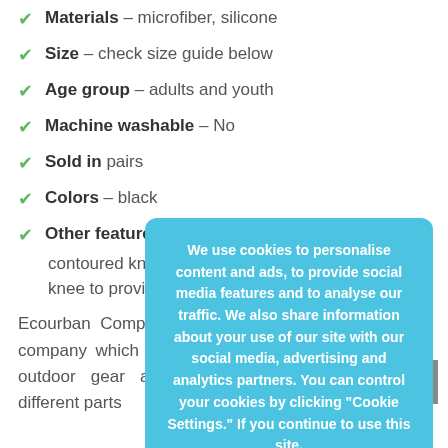Materials – microfiber, silicone
Size – check size guide below
Age group – adults and youth
Machine washable – No
Sold in pairs
Colors – black
Other features – specially designed contoured knee pad which surrounds your knee to provide all-around protection
Ecourban Company is an internationally recognized company which specialized in providing athletic and outdoor gear and accessories for customers in different parts
[Figure (other): Cookie consent overlay popup with blue background reading: We use cookies to personalise content and ads, to provide social media features and to analyse our traffic. We also share information about your use of our site with our social media, advertising and analytics partners. You can control your cookies by clicking "Cookie Settings." If you continue to use this site,]
[Figure (other): Back to top button (grey square with white up arrow), bottom right]